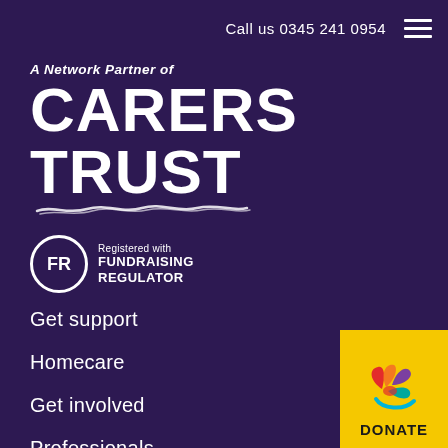Call us 0345 241 0954
[Figure (logo): A Network Partner of Carers Trust logo with wavy underline]
[Figure (logo): FR circle badge - Registered with Fundraising Regulator]
Get support
Homecare
Get involved
Professionals
News and events
[Figure (logo): Yellow DONATE button with colorful flower/splash icon in top right corner]